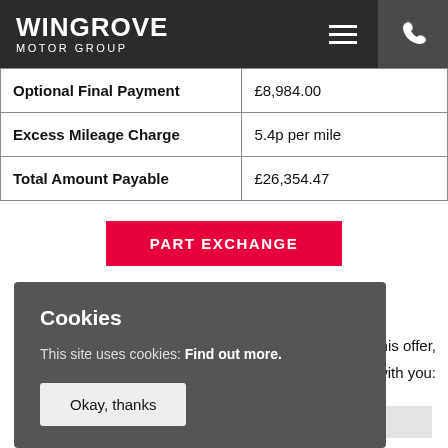WINGROVE MOTOR GROUP
| Optional Final Payment | £8,984.00 |
| Excess Mileage Charge | 5.4p per mile |
| Total Amount Payable | £26,354.47 |
[Figure (other): Red PART EXCHANGE button]
est for this offer, ouch with you:
Cookies
This site uses cookies: Find out more.
Okay, thanks
First Name: